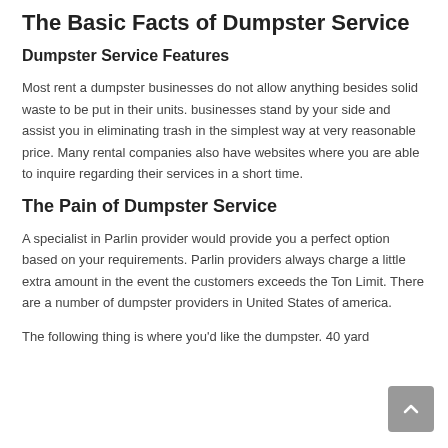The Basic Facts of Dumpster Service
Dumpster Service Features
Most rent a dumpster businesses do not allow anything besides solid waste to be put in their units. businesses stand by your side and assist you in eliminating trash in the simplest way at very reasonable price. Many rental companies also have websites where you are able to inquire regarding their services in a short time.
The Pain of Dumpster Service
A specialist in Parlin provider would provide you a perfect option based on your requirements. Parlin providers always charge a little extra amount in the event the customers exceeds the Ton Limit. There are a number of dumpster providers in United States of america.
The following thing is where you'd like the dumpster. 40 yard dumpsters are usually only used for the biggest of projects...